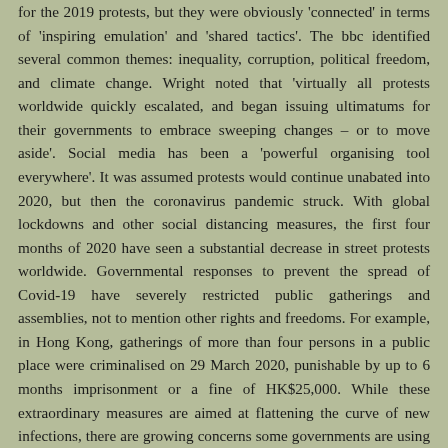for the 2019 protests, but they were obviously 'connected' in terms of 'inspiring emulation' and 'shared tactics'. The bbc identified several common themes: inequality, corruption, political freedom, and climate change. Wright noted that 'virtually all protests worldwide quickly escalated, and began issuing ultimatums for their governments to embrace sweeping changes – or to move aside'. Social media has been a 'powerful organising tool everywhere'. It was assumed protests would continue unabated into 2020, but then the coronavirus pandemic struck. With global lockdowns and other social distancing measures, the first four months of 2020 have seen a substantial decrease in street protests worldwide. Governmental responses to prevent the spread of Covid-19 have severely restricted public gatherings and assemblies, not to mention other rights and freedoms. For example, in Hong Kong, gatherings of more than four persons in a public place were criminalised on 29 March 2020, punishable by up to 6 months imprisonment or a fine of HK$25,000. While these extraordinary measures are aimed at flattening the curve of new infections, there are growing concerns some governments are using these emergency powers for